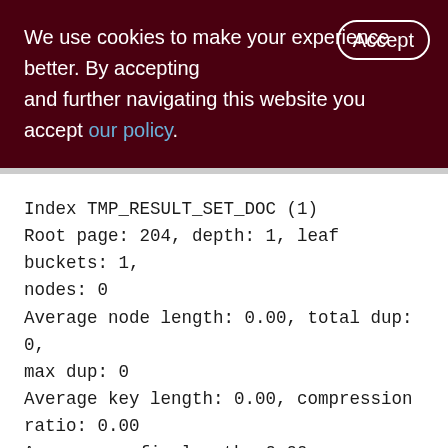We use cookies to make your experience better. By accepting and further navigating this website you accept our policy.
Index TMP_RESULT_SET_DOC (1)
Root page: 204, depth: 1, leaf buckets: 1, nodes: 0
Average node length: 0.00, total dup: 0, max dup: 0
Average key length: 0.00, compression ratio: 0.00
Average prefix length: 0.00, average data length: 0.00
Clustering factor: 0, ratio: 0.00
Fill distribution: